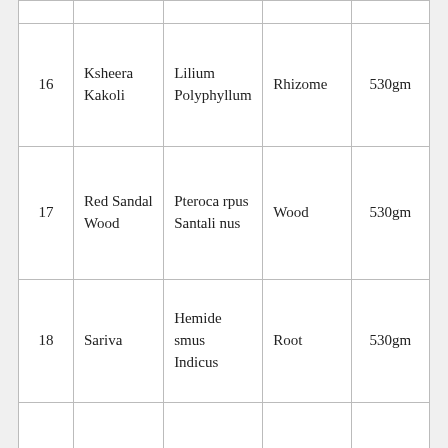| No. | Common Name | Botanical Name | Part Used | Quantity |
| --- | --- | --- | --- | --- |
| 16 | Ksheera Kakoli | Lilium Polyphyllum | Rhizome | 530gm |
| 17 | Red Sandal Wood | Pterocarpus Santalinus | Wood | 530gm |
| 18 | Sariva | Hemidesmus Indicus | Root | 530gm |
| 19 | Tagara | Valeriana wallichii | Root | 530gm |